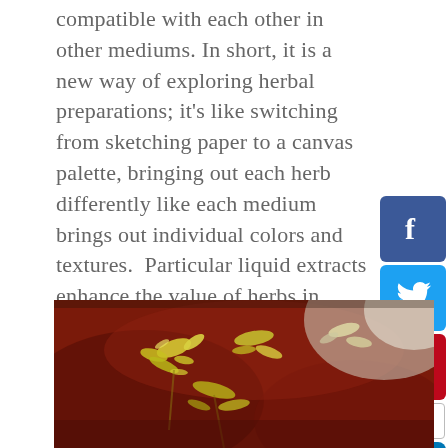compatible with each other in other mediums. In short, it is a new way of exploring herbal preparations; it's like switching from sketching paper to a canvas palette, bringing out each herb differently like each medium brings out individual colors and textures.  Particular liquid extracts enhance the value of herbs in varying, but equally important, ways.
[Figure (photo): Close-up photo of yellow flowers (herbal preparation) submerged in a dark red liquid inside a glass jar, with a blurred light background.]